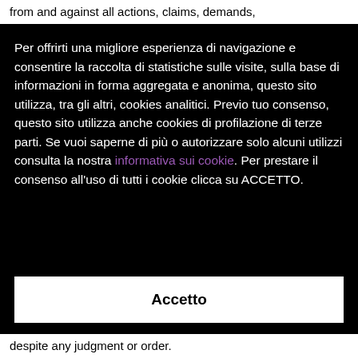from and against all actions, claims, demands,
Per offrirti una migliore esperienza di navigazione e consentire la raccolta di statistiche sulle visite, sulla base di informazioni in forma aggregata e anonima, questo sito utilizza, tra gli altri, cookies analitici. Previo tuo consenso, questo sito utilizza anche cookies di profilazione di terze parti. Se vuoi saperne di più o autorizzare solo alcuni utilizzi consulta la nostra informativa sui cookie. Per prestare il consenso all'uso di tutti i cookie clicca su ACCETTO.
Accetto
despite any judgment or order.